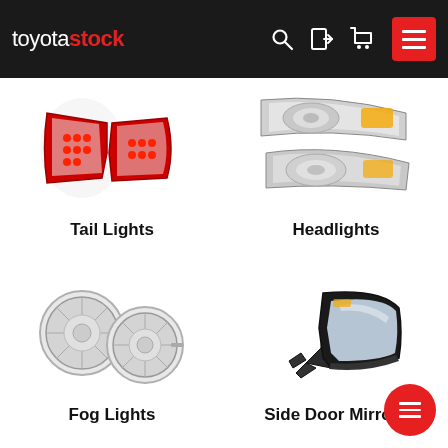toyotastock — navigation header with search, login, cart, and menu icons
[Figure (photo): Red Toyota tail lights (pair) on white background]
Tail Lights
[Figure (photo): Toyota headlights (pair) on white background]
Headlights
[Figure (photo): Round fog lights (pair) on white background]
Fog Lights
[Figure (photo): Toyota side door mirror on white background]
Side Door Mirrors